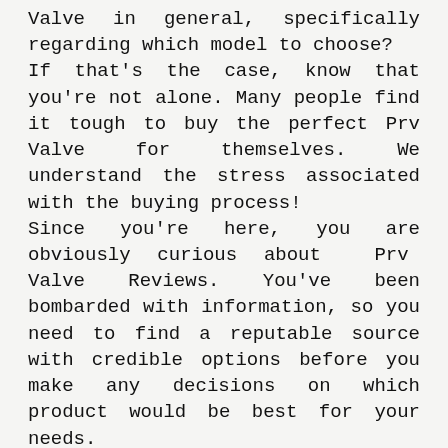Valve in general, specifically regarding which model to choose? If that's the case, know that you're not alone. Many people find it tough to buy the perfect Prv Valve for themselves. We understand the stress associated with the buying process! Since you're here, you are obviously curious about Prv Valve Reviews. You've been bombarded with information, so you need to find a reputable source with credible options before you make any decisions on which product would be best for your needs. There are many sources that'll provide you with that information- buying guides or ratings websites, word-of-mouth testimonials from friends or family members, online forums where users share their personal experiences, product reviews